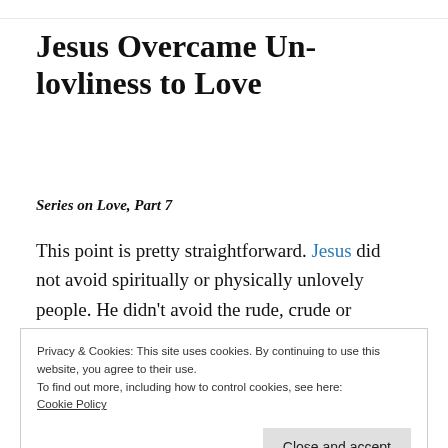Jesus Overcame Unlovliness to Love
Series on Love, Part 7
This point is pretty straightforward. Jesus did not avoid spiritually or physically unlovely people. He didn’t avoid the rude, crude or
Privacy & Cookies: This site uses cookies. By continuing to use this website, you agree to their use.
To find out more, including how to control cookies, see here:
Cookie Policy
Close and accept
Jesus loved people who were outsiders, that